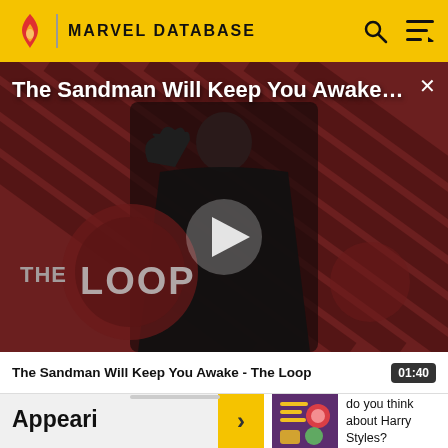MARVEL DATABASE
[Figure (screenshot): Video thumbnail showing a dark-cloaked figure (The Sandman) against a red/brown diagonal stripe background with THE LOOP branding overlay and a white play button in the center. Title text reads: The Sandman Will Keep You Awake...]
The Sandman Will Keep You Awake - The Loop
01:40
Watermelon survey … What do you think about Harry Styles? TAKE THE SURVEY HERE
Appeari